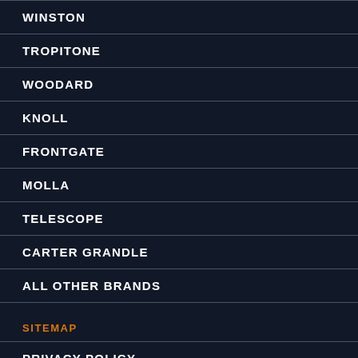WINSTON
TROPITONE
WOODARD
KNOLL
FRONTGATE
MOLLA
TELESCOPE
CARTER GRANDLE
ALL OTHER BRANDS
SITEMAP
PRIVACY POLICY